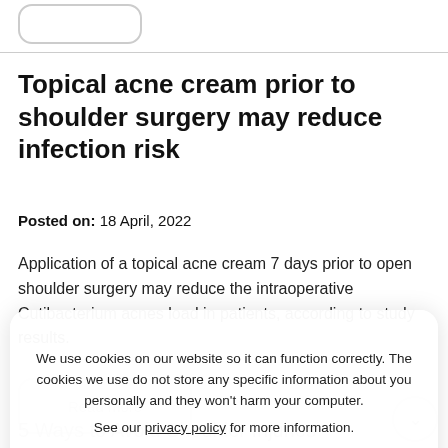[Figure (other): Rounded rectangle button outline at top left of page]
Topical acne cream prior to shoulder surgery may reduce infection risk
Posted on: 18 April, 2022
Application of a topical acne cream 7 days prior to open shoulder surgery may reduce the intraoperative Cutibacterium acnes load in patients, according to study results.
We use cookies on our website so it can function correctly. The cookies we use do not store any specific information about you personally and they won't harm your computer.

See our privacy policy for more information.
Accept
Read more
5 Ways to Avoid Shoulder Injuries